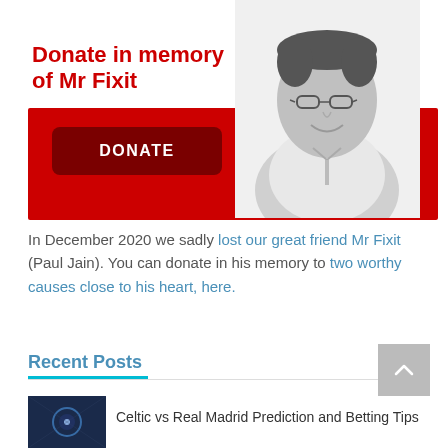[Figure (infographic): Donation banner with red background, 'DONATE' button in dark red, and a black-and-white photo of a man with glasses (Mr Fixit / Paul Jain). Title reads 'Donate in memory of Mr Fixit' in red bold text.]
In December 2020 we sadly lost our great friend Mr Fixit (Paul Jain). You can donate in his memory to two worthy causes close to his heart, here.
Recent Posts
Celtic vs Real Madrid Prediction and Betting Tips